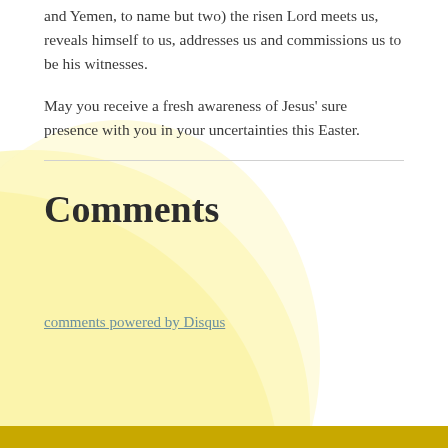and Yemen, to name but two) the risen Lord meets us, reveals himself to us, addresses us and commissions us to be his witnesses.
May you receive a fresh awareness of Jesus' sure presence with you in your uncertainties this Easter.
Comments
comments powered by Disqus